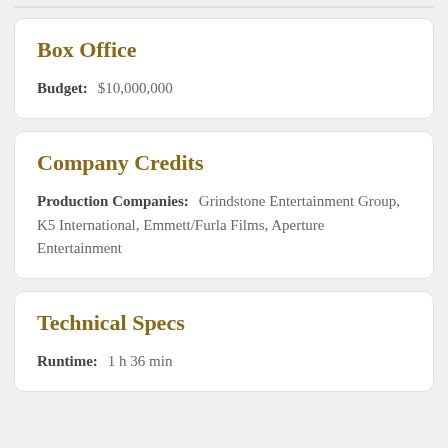Box Office
Budget: $10,000,000
Company Credits
Production Companies: Grindstone Entertainment Group, K5 International, Emmett/Furla Films, Aperture Entertainment
Technical Specs
Runtime: 1 h 36 min